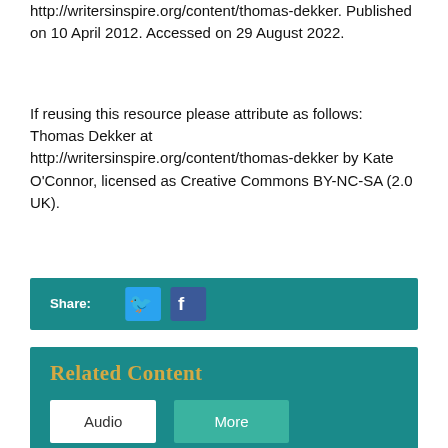http://writersinspire.org/content/thomas-dekker. Published on 10 April 2012. Accessed on 29 August 2022.
If reusing this resource please attribute as follows: Thomas Dekker at http://writersinspire.org/content/thomas-dekker by Kate O'Connor, licensed as Creative Commons BY-NC-SA (2.0 UK).
Share:
[Figure (other): Twitter and Facebook share icons on a teal background bar]
Related Content
Audio
More
The Shoemaker's Holiday: Thomas Dek...